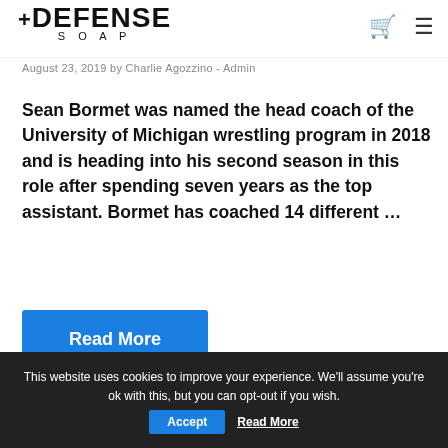DEFENSE SOAP
August 23, 2019 by Charlie Agozzino - Admin
Sean Bormet was named the head coach of the University of Michigan wrestling program in 2018 and is heading into his second season in this role after spending seven years as the top assistant. Bormet has coached 14 different ...
Read More
Uncategorized
This website uses cookies to improve your experience. We'll assume you're ok with this, but you can opt-out if you wish. Accept Read More